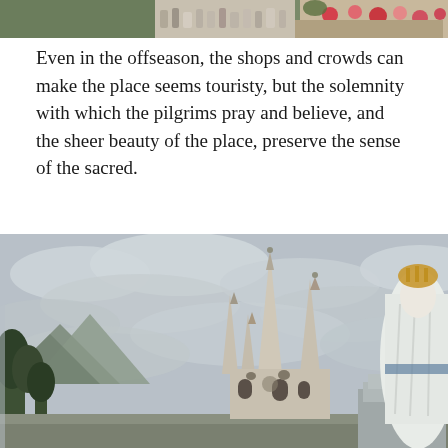[Figure (photo): Top strip photo showing shops and crowds at a pilgrimage site]
Even in the offseason, the shops and crowds can make the place seems touristy, but the solemnity with which the pilgrims pray and believe, and the sheer beauty of the place, preserve the sense of the sacred.
[Figure (photo): Photo of Lourdes basilica with Gothic spires and a statue of Our Lady of Lourdes in white on a stone pedestal to the right, against a cloudy sky, with mountains and trees in the background]